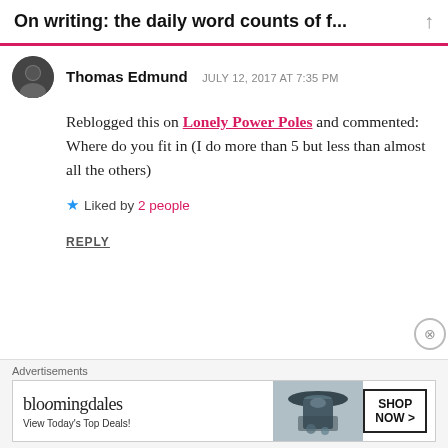On writing: the daily word counts of f...
Thomas Edmund  JULY 12, 2017 AT 7:35 PM
Reblogged this on Lonely Power Poles and commented:
Where do you fit in (I do more than 5 but less than almost all the others)
★ Liked by 2 people
REPLY
Advertisements
[Figure (screenshot): Bloomingdale's advertisement banner: 'bloomingdales View Today's Top Deals!' with SHOP NOW > button and image of woman in hat]